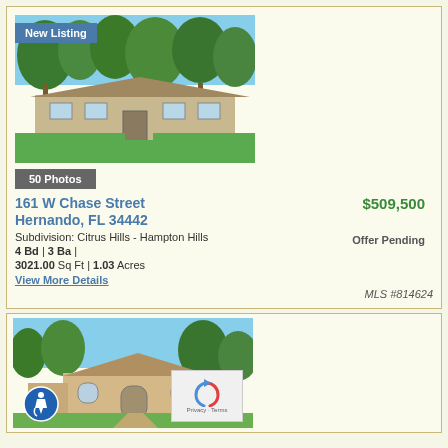[Figure (photo): Ranch-style house with large lawn, trees, and circular driveway. Badge reading 'New Listing' in top left.]
50 Photos
161 W Chase Street
Hernando, FL 34442
Subdivision: Citrus Hills - Hampton Hills
4 Bd | 3 Ba |
3021.00 Sq Ft | 1.03 Acres
View More Details
$509,500
Offer Pending
MLS #814624
[Figure (photo): Second house listing photo showing a beige stucco home with arched windows and surrounding trees. Accessibility icon visible in bottom left. reCAPTCHA widget in bottom right.]